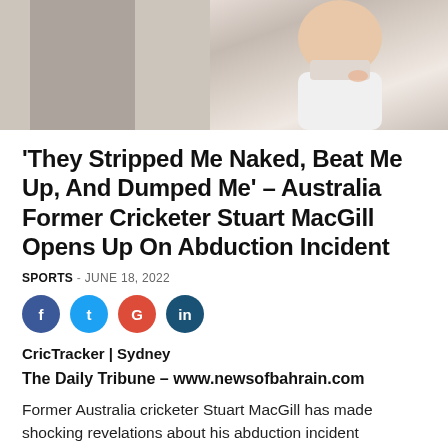[Figure (photo): Photo of Stuart MacGill, showing partial face and white shirt, split into two sections]
'They Stripped Me Naked, Beat Me Up, And Dumped Me' – Australia Former Cricketer Stuart MacGill Opens Up On Abduction Incident
SPORTS - JUNE 18, 2022
[Figure (infographic): Social media share buttons: Facebook, Twitter, Google, LinkedIn]
CricTracker | Sydney
The Daily Tribune – www.newsofbahrain.com
Former Australia cricketer Stuart MacGill has made shocking revelations about his abduction incident